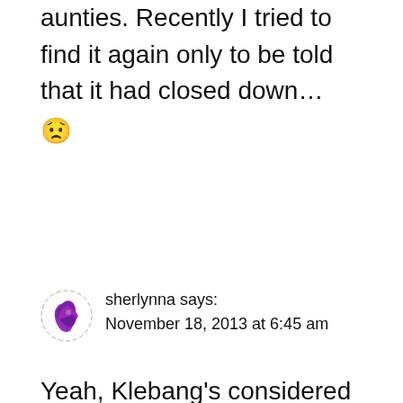aunties. Recently I tried to find it again only to be told that it had closed down… 😟
sherlynna says: November 18, 2013 at 6:45 am
Yeah, Klebang's considered out-of-the-way until recent years. The restaurant might have survived if the timing was right. Then again there is one, Bert's Garden, which